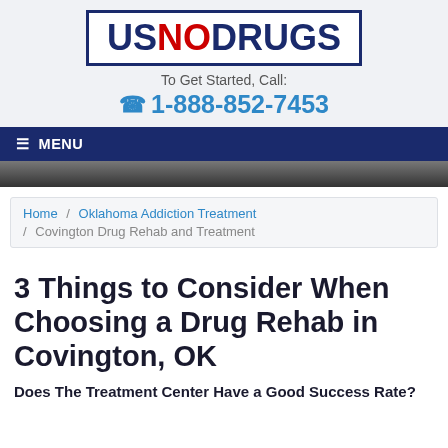[Figure (logo): USNODRUGS logo — US in dark navy, NO in red, DRUGS in dark navy, inside a dark navy border box]
To Get Started, Call:
☎ 1-888-852-7453
≡ MENU
Home / Oklahoma Addiction Treatment / Covington Drug Rehab and Treatment
3 Things to Consider When Choosing a Drug Rehab in Covington, OK
Does The Treatment Center Have a Good Success Rate?